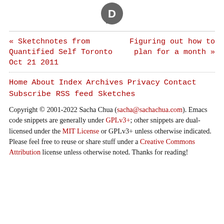[Figure (logo): Disqus logo: dark grey speech bubble with white letter D]
« Sketchnotes from Quantified Self Toronto Oct 21 2011
Figuring out how to plan for a month »
Home   About   Index   Archives   Privacy   Contact
Subscribe   RSS feed   Sketches
Copyright © 2001-2022 Sacha Chua (sacha@sachachua.com). Emacs code snippets are generally under GPLv3+; other snippets are dual-licensed under the MIT License or GPLv3+ unless otherwise indicated. Please feel free to reuse or share stuff under a Creative Commons Attribution license unless otherwise noted. Thanks for reading!